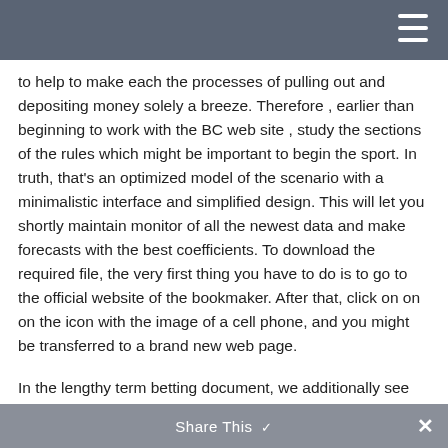[navigation bar with hamburger menu]
to help to make each the processes of pulling out and depositing money solely a breeze. Therefore , earlier than beginning to work with the BC web site , study the sections of the rules which might be important to begin the sport. In truth, that's an optimized model of the scenario with a minimalistic interface and simplified design. This will let you shortly maintain monitor of all the newest data and make forecasts with the best coefficients. To download the required file, the very first thing you have to do is to go to the official website of the bookmaker. After that, click on on on the icon with the image of a cell phone, and you might be transferred to a brand new web page.
In the lengthy term betting document, we additionally see the markets for the coaches in some
Share This ✓ ✕